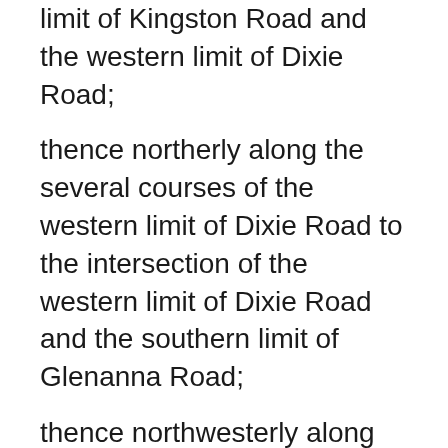limit of Kingston Road and the western limit of Dixie Road;
thence northerly along the several courses of the western limit of Dixie Road to the intersection of the western limit of Dixie Road and the southern limit of Glenanna Road;
thence northwesterly along the several courses of the southern and western limits of Glenanna Road to the intersection of the southern limit of Glenanna Road and the production southerly of the western limit of Huntsmill Drive: